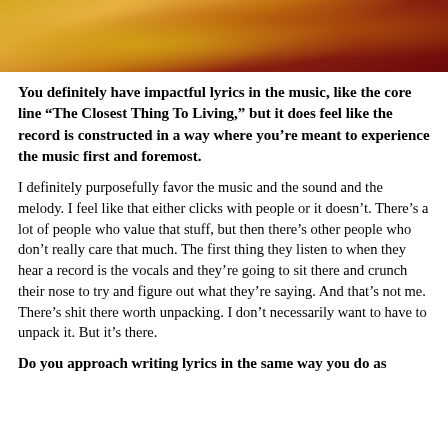[Figure (photo): Partial photo of a person wearing golden/yellow fabric clothing, with warm amber and dark red tones in the background.]
You definitely have impactful lyrics in the music, like the core line “The Closest Thing To Living,” but it does feel like the record is constructed in a way where you’re meant to experience the music first and foremost.
I definitely purposefully favor the music and the sound and the melody. I feel like that either clicks with people or it doesn’t. There’s a lot of people who value that stuff, but then there’s other people who don’t really care that much. The first thing they listen to when they hear a record is the vocals and they’re going to sit there and crunch their nose to try and figure out what they’re saying. And that’s not me. There’s shit there worth unpacking. I don’t necessarily want to have to unpack it. But it’s there.
Do you approach writing lyrics in the same way you do as